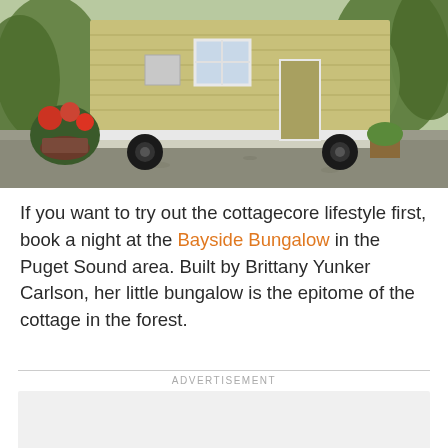[Figure (photo): Outdoor photo of a small yellow/tan tiny house on a trailer with white trim, surrounded by gravel, potted red flowers, and lush green forest/trees in the background. Large dark wheels visible. Appears to be the Bayside Bungalow in the Puget Sound area.]
If you want to try out the cottagecore lifestyle first, book a night at the Bayside Bungalow in the Puget Sound area. Built by Brittany Yunker Carlson, her little bungalow is the epitome of the cottage in the forest.
ADVERTISEMENT